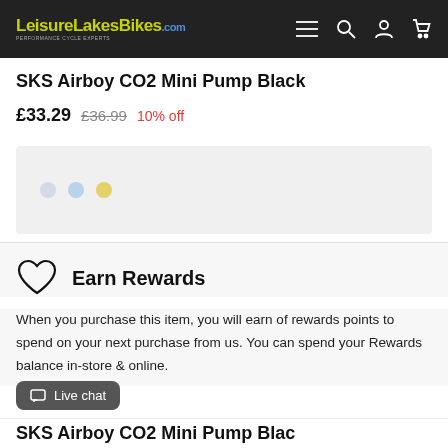LeisureLakesBikes.com
SKS Airboy CO2 Mini Pump Black
£33.29  £36.99  10% off
[Figure (other): Loading placeholder box with three dots (light blue, blue, yellow)]
Earn Rewards
When you purchase this item, you will earn of rewards points to spend on your next purchase from us. You can spend your Rewards balance in-store & online.
SKS Airboy CO2 Mini Pump Black